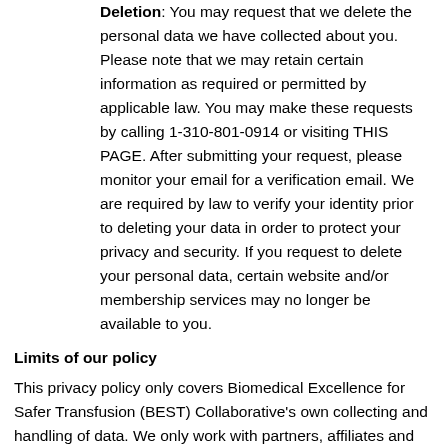Deletion: You may request that we delete the personal data we have collected about you. Please note that we may retain certain information as required or permitted by applicable law. You may make these requests by calling 1-310-801-0914 or visiting THIS PAGE. After submitting your request, please monitor your email for a verification email. We are required by law to verify your identity prior to deleting your data in order to protect your privacy and security. If you request to delete your personal data, certain website and/or membership services may no longer be available to you.
Limits of our policy
This privacy policy only covers Biomedical Excellence for Safer Transfusion (BEST) Collaborative's own collecting and handling of data. We only work with partners, affiliates and third-party providers whose privacy policies align with ours, however we cannot accept responsibility or liability for their respective privacy practices.